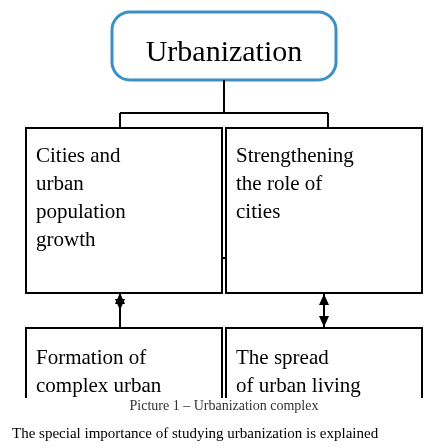[Figure (flowchart): Urbanization concept map with a central box labeled 'Urbanization' (blue border, rounded corners) connected by lines to four sub-boxes: 'Cities and urban population growth' (top-left), 'Strengthening the role of cities' (top-right), 'Formation of complex urban systems' (bottom-left), 'The spread of urban living standards' (bottom-right). Bidirectional arrows connect: left boxes vertically, right boxes vertically, and horizontally between middle boxes.]
Picture 1 – Urbanization complex
The special importance of studying urbanization is explained